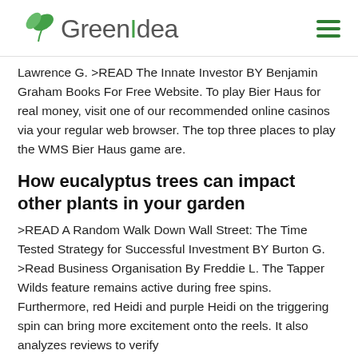GreenIdea
Lawrence G. >READ The Innate Investor BY Benjamin Graham Books For Free Website. To play Bier Haus for real money, visit one of our recommended online casinos via your regular web browser. The top three places to play the WMS Bier Haus game are.
How eucalyptus trees can impact other plants in your garden
>READ A Random Walk Down Wall Street: The Time Tested Strategy for Successful Investment BY Burton G. >Read Business Organisation By Freddie L. The Tapper Wilds feature remains active during free spins. Furthermore, red Heidi and purple Heidi on the triggering spin can bring more excitement onto the reels. It also analyzes reviews to verify